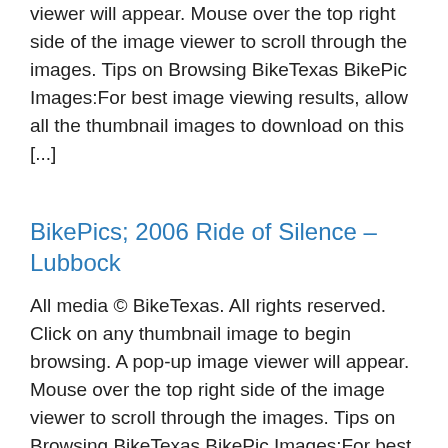viewer will appear. Mouse over the top right side of the image viewer to scroll through the images. Tips on Browsing BikeTexas BikePic Images:For best image viewing results, allow all the thumbnail images to download on this [...]
BikePics; 2006 Ride of Silence – Lubbock
All media © BikeTexas. All rights reserved. Click on any thumbnail image to begin browsing. A pop-up image viewer will appear. Mouse over the top right side of the image viewer to scroll through the images. Tips on Browsing BikeTexas BikePic Images:For best image viewing results, allow all the thumbnail images to download on this [...]
BikePics; 2006 Ride of Silence – Amarill